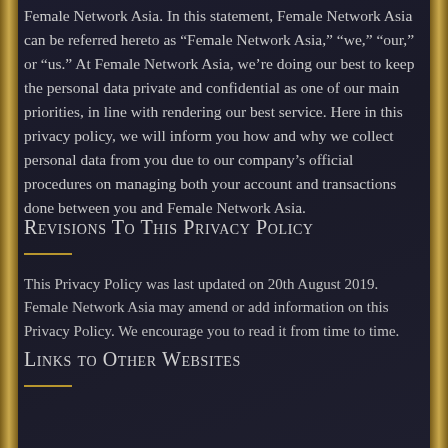Female Network Asia. In this statement, Female Network Asia can be referred hereto as “Female Network Asia,” “we,” “our,” or “us.” At Female Network Asia, we’re doing our best to keep the personal data private and confidential as one of our main priorities, in line with rendering our best service. Here in this privacy policy, we will inform you how and why we collect personal data from you due to our company’s official procedures on managing both your account and transactions done between you and Female Network Asia.
Revisions To This Privacy Policy
This Privacy Policy was last updated on 20th August 2019. Female Network Asia may amend or add information on this Privacy Policy. We encourage you to read it from time to time.
Links to Other Websites